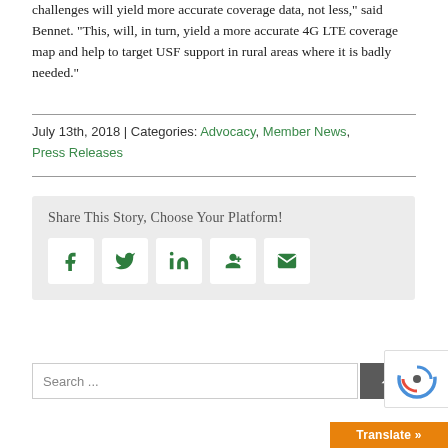challenges will yield more accurate coverage data, not less," said Bennet. "This, will, in turn, yield a more accurate 4G LTE coverage map and help to target USF support in rural areas where it is badly needed."
July 13th, 2018 | Categories: Advocacy, Member News, Press Releases
[Figure (infographic): Share This Story, Choose Your Platform! box with social media icons: Facebook, Twitter, LinkedIn, Google+, Email]
Search ...
Translate »